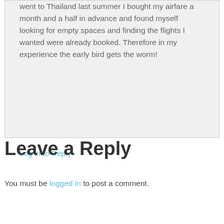went to Thailand last summer I bought my airfare a month and a half in advance and found myself looking for empty spaces and finding the flights I wanted were already booked. Therefore in my experience the early bird gets the worm!
Log in to Reply
Leave a Reply
You must be logged in to post a comment.